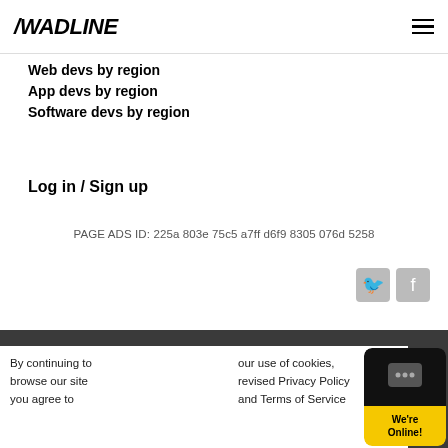/WADLINE
Web devs by region
App devs by region
Software devs by region
Log in / Sign up
PAGE ADS ID: 225a 803e 75c5 a7ff d6f9 8305 076d 5258
Copyright © 2015-2022 Wadline. 646.712.9467. 322 8th Avenue, New York, NY 10001, US | EN | RU | ES
By continuing to browse our site you agree to our use of cookies, revised Privacy Policy and Terms of Service
We're Online!